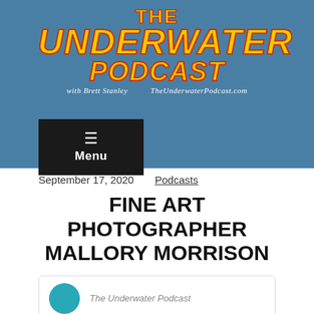[Figure (logo): The Underwater Podcast logo with Brett Stanley, yellow and red text on blue background]
[Figure (other): Hamburger menu button with Menu label, dark background]
September 17, 2020
Podcasts
FINE ART PHOTOGRAPHER MALLORY MORRISON
The Underwater Podcast